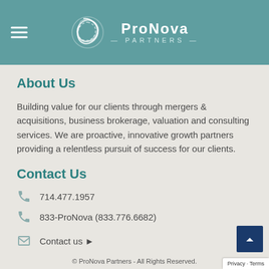ProNova Partners
About Us
Building value for our clients through mergers & acquisitions, business brokerage, valuation and consulting services. We are proactive, innovative growth partners providing a relentless pursuit of success for our clients.
Contact Us
714.477.1957
833-ProNova (833.776.6682)
Contact us ▶
© ProNova Partners - All Rights Reserved.